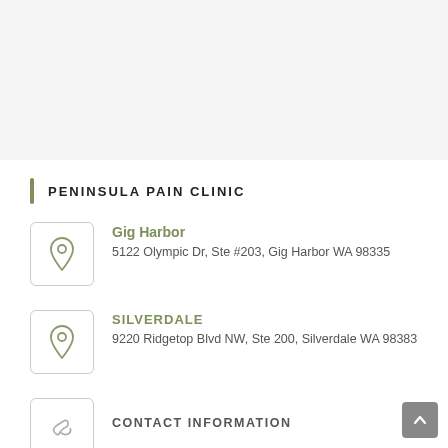PENINSULA PAIN CLINIC
Gig Harbor
5122 Olympic Dr, Ste #203, Gig Harbor WA 98335
SILVERDALE
9220 Ridgetop Blvd NW, Ste 200, Silverdale WA 98383
CONTACT INFORMATION